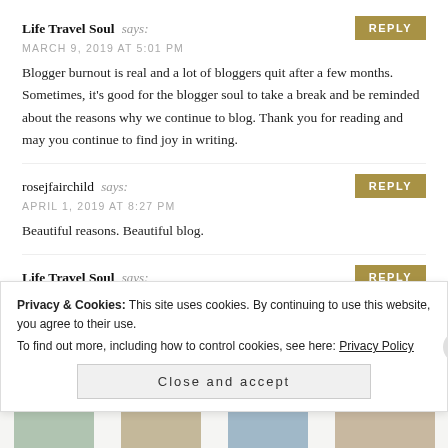Life Travel Soul says:
MARCH 9, 2019 AT 5:01 PM
Blogger burnout is real and a lot of bloggers quit after a few months. Sometimes, it's good for the blogger soul to take a break and be reminded about the reasons why we continue to blog. Thank you for reading and may you continue to find joy in writing.
rosejfairchild says:
APRIL 1, 2019 AT 8:27 PM
Beautiful reasons. Beautiful blog.
Life Travel Soul says:
APRIL 1, 2019 AT 8:32 PM
Privacy & Cookies: This site uses cookies. By continuing to use this website, you agree to their use. To find out more, including how to control cookies, see here: Privacy Policy
Close and accept